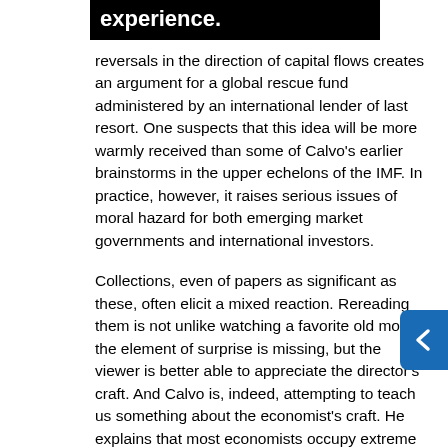and f[obscured by tooltip] experience.
reversals in the direction of capital flows creates an argument for a global rescue fund administered by an international lender of last resort. One suspects that this idea will be more warmly received than some of Calvo's earlier brainstorms in the upper echelons of the IMF. In practice, however, it raises serious issues of moral hazard for both emerging market governments and international investors.
Collections, even of papers as significant as these, often elicit a mixed reaction. Rereading them is not unlike watching a favorite old movie: the element of surprise is missing, but the viewer is better able to appreciate the director's craft. And Calvo is, indeed, attempting to teach us something about the economist's craft. He explains that most economists occupy extreme points on the methodological spectrum: they work either on discovery or on applications. The profession includes skilled theorists capable of building elegant abstract models formalizing new ideas and applied economists fundamentally concerned about understanding